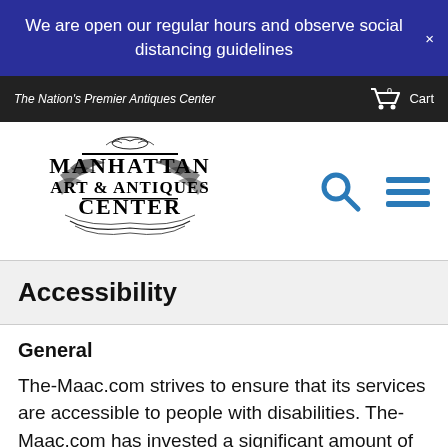We are open our regular hours and observe social distancing guidelines
The Nation's Premier Antiques Center | Cart
[Figure (logo): Manhattan Art & Antiques Center logo with decorative foliage illustration]
Accessibility
General
The-Maac.com strives to ensure that its services are accessible to people with disabilities. The-Maac.com has invested a significant amount of resources to help